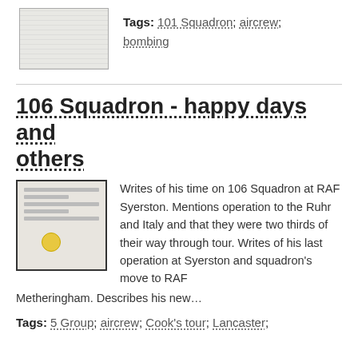[Figure (photo): Thumbnail of a document page, light grey tones]
Tags: 101 Squadron; aircrew; bombing
106 Squadron - happy days and others
[Figure (photo): Thumbnail of a document page with a yellow dot sticker]
Writes of his time on 106 Squadron at RAF Syerston. Mentions operation to the Ruhr and Italy and that they were two thirds of their way through tour. Writes of his last operation at Syerston and squadron's move to RAF Metheringham. Describes his new…
Tags: 5 Group; aircrew; Cook's tour; Lancaster;